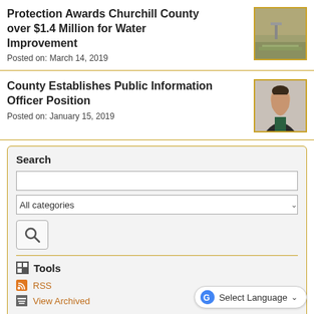Protection Awards Churchill County over $1.4 Million for Water Improvement
Posted on: March 14, 2019
[Figure (photo): Outdoor landscape photo, field/dry ground with marker or signage]
County Establishes Public Information Officer Position
Posted on: January 15, 2019
[Figure (photo): Portrait of a woman with dark hair wearing a dark blazer and green shirt]
Search
All categories
Tools
RSS
View Archived
Select Language